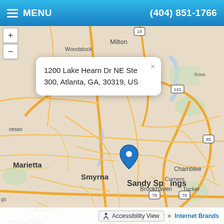MENU  (404) 851-1766
[Figure (map): Street map of Atlanta metro area showing Sandy Springs, Marietta, Smyrna, Brookhaven, Chamblee, Tucker, Mableton, Decatur, Redan, Atlanta, East Point, Panthersville areas with road network. A blue location pin is placed at Sandy Springs.]
1200 Lake Hearn Dr NE Ste 300, Atlanta, GA, 30319, US
Accessibility View  Internet Brands